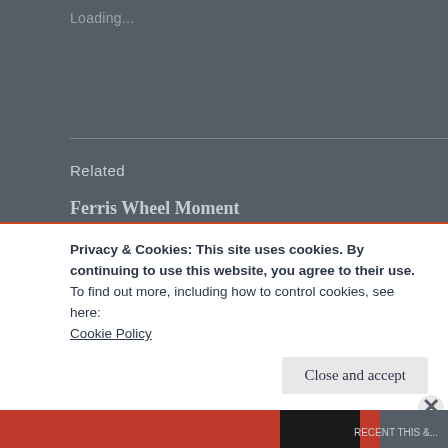Loading...
Related
Ferris Wheel Moment
November 5, 2013
In "Deep(er) Stuff"
Let's Get on the Bus
September 24, 2013
In "Random Bananas"
Privacy & Cookies: This site uses cookies. By continuing to use this website, you agree to their use.
To find out more, including how to control cookies, see here: Cookie Policy
Close and accept